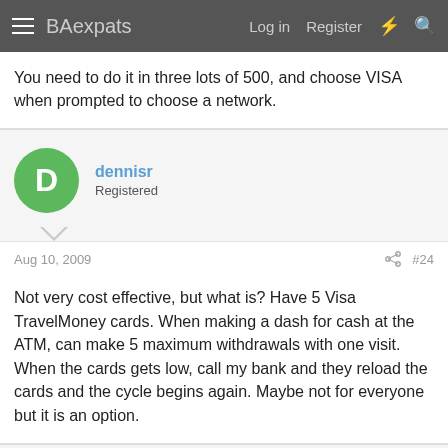BAexpats  Log in  Register
You need to do it in three lots of 500, and choose VISA when prompted to choose a network.
dennisr
Registered
Aug 10, 2009  #24
Not very cost effective, but what is? Have 5 Visa TravelMoney cards. When making a dash for cash at the ATM, can make 5 maximum withdrawals with one visit. When the cards gets low, call my bank and they reload the cards and the cycle begins again. Maybe not for everyone but it is an option.
John.St
Registered